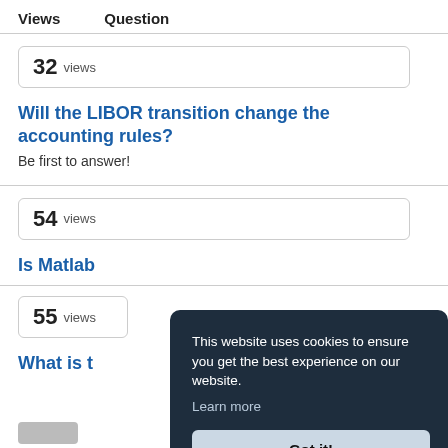Views   Question
32 views
Will the LIBOR transition change the accounting rules?
Be first to answer!
54 views
Is Matlab
55 views
What is t
This website uses cookies to ensure you get the best experience on our website. Learn more
Got it!